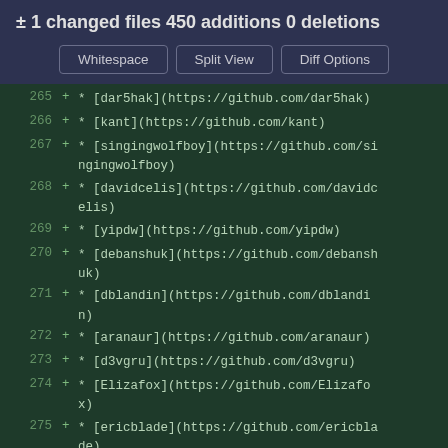± 1 changed files 450 additions 0 deletions
Whitespace | Split View | Diff Options
[Figure (screenshot): Git diff view showing added lines 265-277 with GitHub contributor links in a dark green code diff area. Lines show additions (+) of markdown list items with GitHub profile links for users: dar5hak, kant, singingwolfboy, davidcelis, yipdw, debanshuk, dblandin, aranaur, d3vgru, Elizafox, ericblade, mikoim, and a partial 277.]